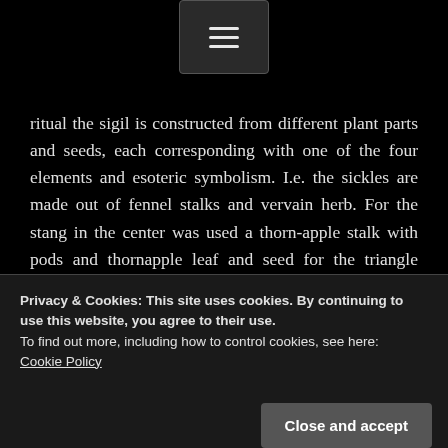[Figure (other): Navigation hamburger menu button on dark background]
ritual the sigil is constructed from different plant parts and seeds, each corresponding with one of the four elements and esoteric symbolism. I.e. the sickles are made out of fennel stalks and vervain herb. For the stang in the center was used a thorn-apple stalk with pods and thornapple leaf and seed for the triangle symbolizing the spirit housed within the green. Of course you could use other herbs, real sickles, or simply trace the lines in the soil.
My offerings given to the spirits included self-gathered pine tree resin, Samhain protection incense, four beeswax candles, water and rum. The operation can be performed in silent contemplation, or you call upon specific crossroad
Privacy & Cookies: This site uses cookies. By continuing to use this website, you agree to their use.
To find out more, including how to control cookies, see here:
Cookie Policy
Close and accept
Now I mentioned this was a dynamic sigil. As you can see in